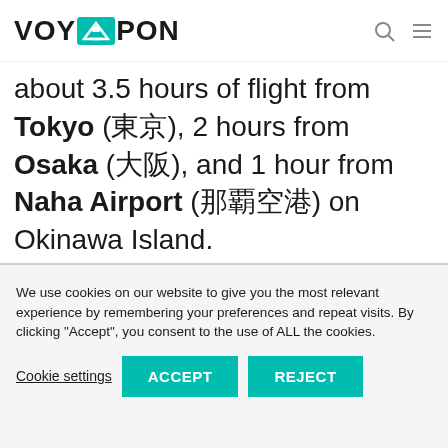VOYAPON
about 3.5 hours of flight from Tokyo (東京), 2 hours from Osaka (大阪), and 1 hour from Naha Airport (那覇空港) on Okinawa Island.
Ferries travel between Taketomi and Ishigaki Port. It takes approximately 15 minutes and costs around 1,300 yen.
We use cookies on our website to give you the most relevant experience by remembering your preferences and repeat visits. By clicking "Accept", you consent to the use of ALL the cookies.